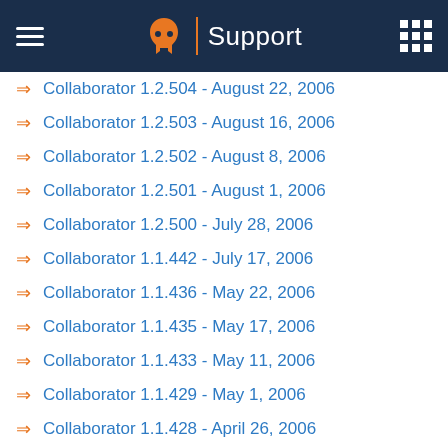Support
Collaborator 1.2.504 - August 22, 2006
Collaborator 1.2.503 - August 16, 2006
Collaborator 1.2.502 - August 8, 2006
Collaborator 1.2.501 - August 1, 2006
Collaborator 1.2.500 - July 28, 2006
Collaborator 1.1.442 - July 17, 2006
Collaborator 1.1.436 - May 22, 2006
Collaborator 1.1.435 - May 17, 2006
Collaborator 1.1.433 - May 11, 2006
Collaborator 1.1.429 - May 1, 2006
Collaborator 1.1.428 - April 26, 2006
Collaborator 1.1.427 - April 25, 2006
Collaborator 1.1.426 - April 21, 2006